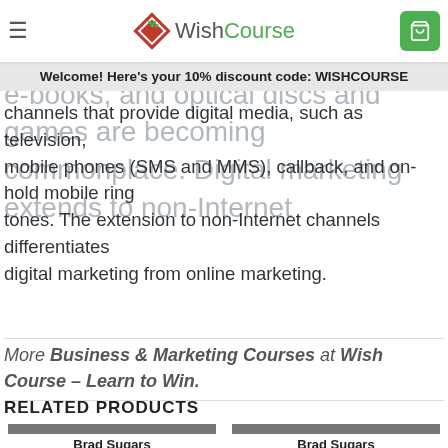WishCourse
Welcome! Here’s your 10% discount code: WISHCOURSE
mail direct marketing, display advertising, e-books, and optical discs and games are becoming commonplace. Digital marketing extends to non-Internet channels that provide digital media, such as television, mobile phones (SMS and MMS), callback, and on-hold mobile ring tones. The extension to non-Internet channels differentiates digital marketing from online marketing.
More Business & Marketing Courses at Wish Course – Learn to Win.
RELATED PRODUCTS
Brad Sugars
Sale!
Brad Sugars
Sale!